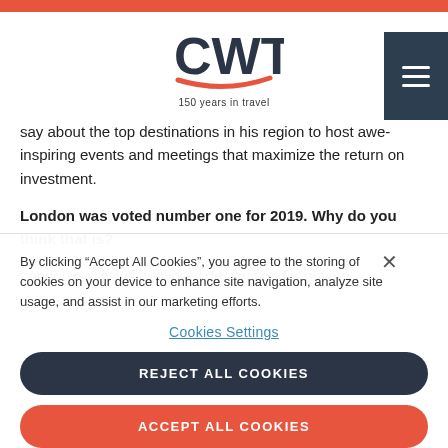CWT — 150 years in travel
say about the top destinations in his region to host awe-inspiring events and meetings that maximize the return on investment.
London was voted number one for 2019. Why do you think that is?
London is always a favored destination for private,
By clicking “Accept All Cookies”, you agree to the storing of cookies on your device to enhance site navigation, analyze site usage, and assist in our marketing efforts.
Cookies Settings
REJECT ALL COOKIES
ACCEPT ALL COOKIES